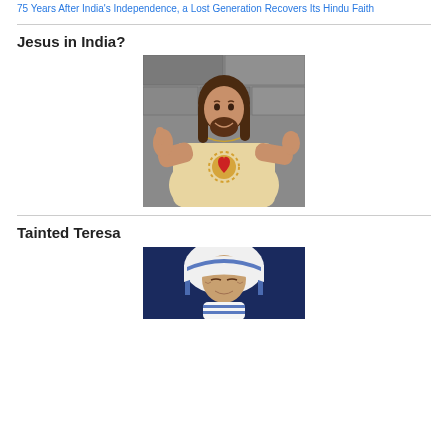75 Years After India's Independence, a Lost Generation Recovers Its Hindu Faith
Jesus in India?
[Figure (photo): A statue or figure depicting Jesus Christ smiling, giving a thumbs up with one hand and pointing with the other, wearing robes with a sacred heart emblem on the chest, against a stone wall background.]
Tainted Teresa
[Figure (photo): A portrait image of Mother Teresa wearing her distinctive white and blue habit, against a dark blue background.]